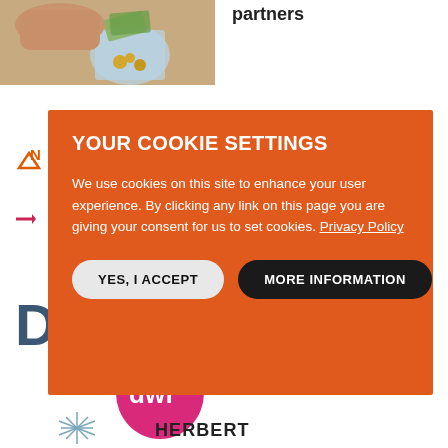[Figure (photo): Hand pouring coins/money into a glass jar, representing savings or financial concept.]
partners
[Figure (screenshot): Cookie consent modal overlay with orange background. Title: YOUR COOKIE SETTINGS. Body text: We use cookies on this site to enhance your user experience. By clicking any link on this page you are giving your consent for us to set cookies. Privacy Policy. Two buttons: YES, I ACCEPT and MORE INFORMATION.]
[Figure (logo): Dechert law firm logo in dark blue.]
[Figure (logo): DWF law firm logo - white text on pink/magenta teardrop shape.]
[Figure (logo): Herbert Smith Freehills logo - stylized sun/rays icon and HERBERT text.]